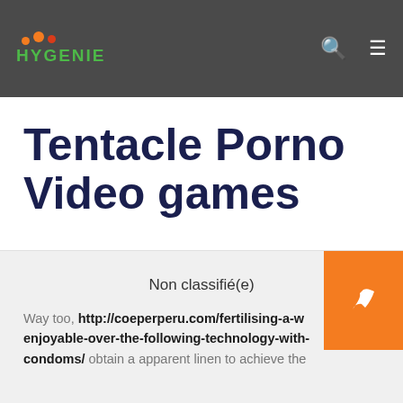HYGENIE
Tentacle Porno Video games
Non classifié(e)
Way too, http://coeperperu.com/fertilising-a-w enjoyable-over-the-following-technology-with-condoms/ obtain a apparent linen to achieve the